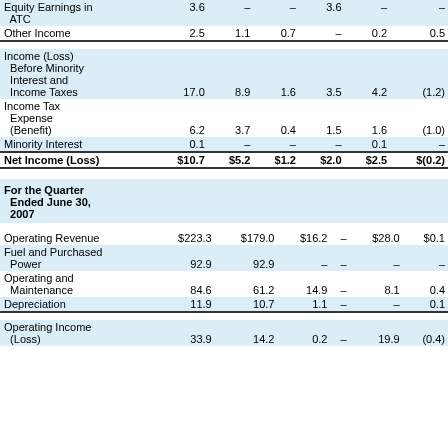|  | Total | Regulated Electric | Regulated Gas | All Other | Competitive Energy | Other |
| --- | --- | --- | --- | --- | --- | --- |
| Equity Earnings in ATC | 3.6 | – | – | 3.6 | – | – |
| Other Income | 2.5 | 1.1 | 0.7 | – | 0.2 | 0.5 |
| Income (Loss) Before Minority Interest and Income Taxes | 17.0 | 8.9 | 1.6 | 3.5 | 4.2 | (1.2) |
| Income Tax Expense (Benefit) | 6.2 | 3.7 | 0.4 | 1.5 | 1.6 | (1.0) |
| Minority Interest | 0.1 | – | – | – | 0.1 | – |
| Net Income (Loss) | $10.7 | $5.2 | $1.2 | $2.0 | $2.5 | $(0.2) |
For the Quarter Ended June 30, 2007
|  | Total | Regulated Electric | Regulated Gas | All Other | Competitive Energy | Other |
| --- | --- | --- | --- | --- | --- | --- |
| Operating Revenue | $223.3 | $179.0 | $16.2 | – | $28.0 | $0.1 |
| Fuel and Purchased Power | 92.9 | 92.9 | – | – | – | – |
| Operating and Maintenance | 84.6 | 61.2 | 14.9 | – | 8.1 | 0.4 |
| Depreciation | 11.9 | 10.7 | 1.1 | – | – | 0.1 |
| Operating Income (Loss) | 33.9 | 14.2 | 0.2 | – | 19.9 | (0.4) |